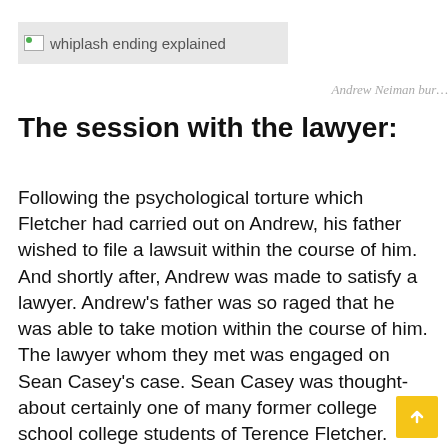whiplash ending explained
Andrew Neiman bur…
The session with the lawyer:
Following the psychological torture which Fletcher had carried out on Andrew, his father wished to file a lawsuit within the course of him. And shortly after, Andrew was made to satisfy a lawyer. Andrew's father was so raged that he was able to take motion within the course of him. The lawyer whom they met was engaged on Sean Casey's case. Sean Casey was thought-about certainly one of many former college school college students of Terence Fletcher.